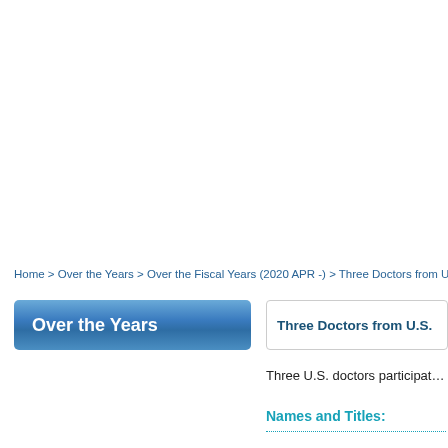Home > Over the Years > Over the Fiscal Years (2020 APR -) > Three Doctors from U.S.
Over the Years
Three Doctors from U.S.
Three U.S. doctors participat…
Names and Titles: